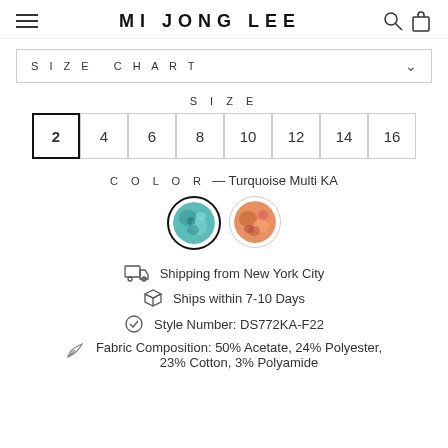MI JONG LEE
SIZE CHART
SIZE
2  4  6  8  10  12  14  16
COLOR — Turquoise Multi KA
[Figure (illustration): Two circular color swatches: first (active/selected) shows turquoise/multi pattern, second shows orange/pink multi pattern]
Shipping from New York City
Ships within 7-10 Days
Style Number: DS772KA-F22
Fabric Composition: 50% Acetate, 24% Polyester, 23% Cotton, 3% Polyamide